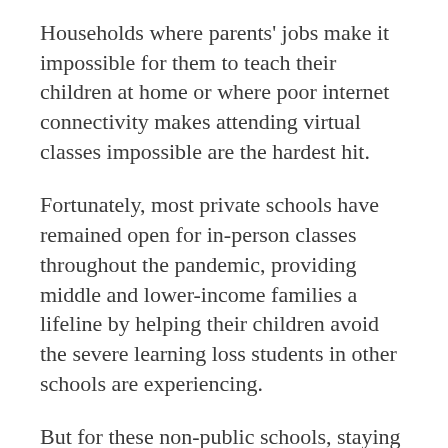Households where parents' jobs make it impossible for them to teach their children at home or where poor internet connectivity makes attending virtual classes impossible are the hardest hit.
Fortunately, most private schools have remained open for in-person classes throughout the pandemic, providing middle and lower-income families a lifeline by helping their children avoid the severe learning loss students in other schools are experiencing.
But for these non-public schools, staying open hasn't been easy. Private and non-public schools are excluded from most of the government funds that public schools can use to implement the government-mandated safety measures. Covering the costs of additional cleaning supplies and protective equipment has strained many private…